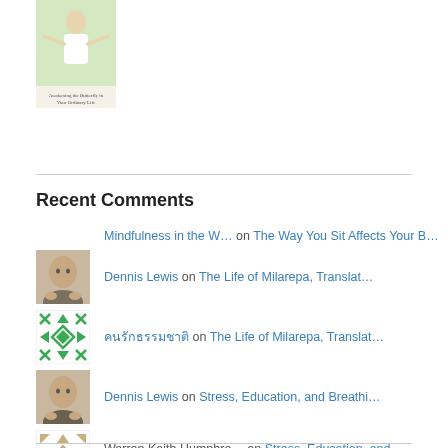[Figure (photo): Book cover thumbnail showing a person with arms outstretched in a field]
Recent Comments
Mindfulness in the W… on The Way You Sit Affects Your B…
Dennis Lewis on The Life of Milarepa, Translat…
คนรักธรรมชาติ on The Life of Milarepa, Translat…
Dennis Lewis on Stress, Education, and Breathi…
Warren Keith Humphre… on Stress, Education, and Breathi…